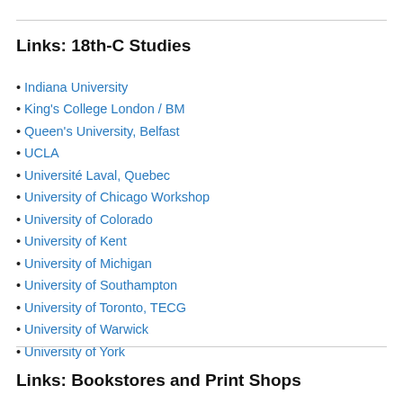Links: 18th-C Studies
Indiana University
King's College London / BM
Queen's University, Belfast
UCLA
Université Laval, Quebec
University of Chicago Workshop
University of Colorado
University of Kent
University of Michigan
University of Southampton
University of Toronto, TECG
University of Warwick
University of York
Links: Bookstores and Print Shops